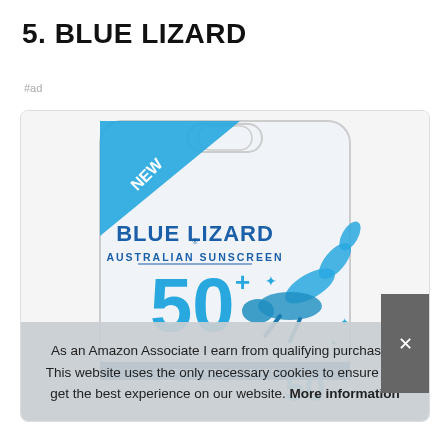5. BLUE LIZARD
#ad
[Figure (photo): Blue Lizard Australian Sunscreen SPF 50+ product in blister packaging with a blue lizard graphic. A 'NEW' banner is in the top left corner. The bottom shows 'FOR OVER 20 YEARS' text.]
As an Amazon Associate I earn from qualifying purchases. This website uses the only necessary cookies to ensure you get the best experience on our website. More information